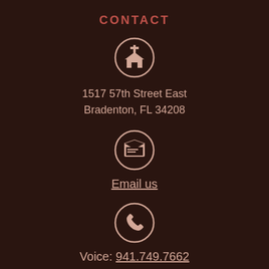CONTACT
[Figure (illustration): Church building icon inside a circle]
1517 57th Street East
Bradenton, FL 34208
[Figure (illustration): Envelope/email icon inside a circle]
Email us
[Figure (illustration): Phone handset icon inside a circle]
Voice: 941.749.7662
QUICK LINKS